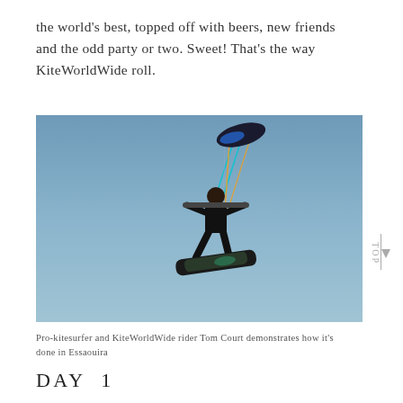the world's best, topped off with beers, new friends and the odd party or two. Sweet! That's the way KiteWorldWide roll.
[Figure (photo): A kitesurfer (pro-kitesurfer Tom Court) performing an aerial trick against a blue sky, holding a control bar attached to a kite with colorful lines (teal/orange), wearing a black wetsuit, with a kiteboard below.]
Pro-kitesurfer and KiteWorldWide rider Tom Court demonstrates how it's done in Essaouira
DAY 1